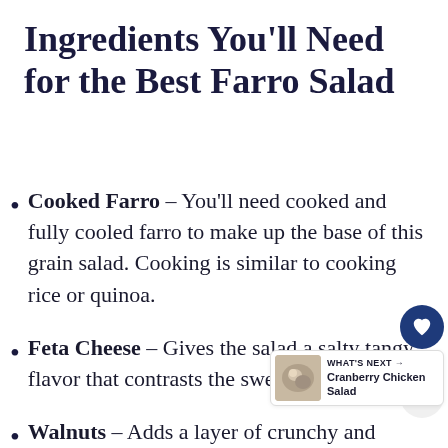Ingredients You'll Need for the Best Farro Salad
Cooked Farro – You'll need cooked and fully cooled farro to make up the base of this grain salad. Cooking is similar to cooking rice or quinoa.
Feta Cheese – Gives the salad a salty tangy flavor that contrasts the sweet ingredients.
Walnuts – Adds a layer of crunchy and